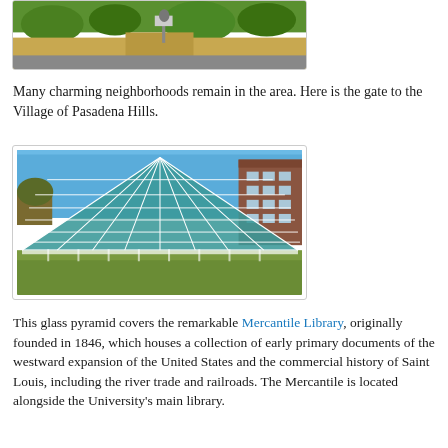[Figure (photo): Partial view of a neighborhood scene with green grass, trees, shrubs and a pathway visible at the bottom — gate area of Village of Pasadena Hills]
Many charming neighborhoods remain in the area. Here is the gate to the Village of Pasadena Hills.
[Figure (photo): A glass pyramid structure covering the Mercantile Library, with a brick building visible behind it, set against a blue sky with green grass in the foreground.]
This glass pyramid covers the remarkable Mercantile Library, originally founded in 1846, which houses a collection of early primary documents of the westward expansion of the United States and the commercial history of Saint Louis, including the river trade and railroads. The Mercantile is located alongside the University's main library.